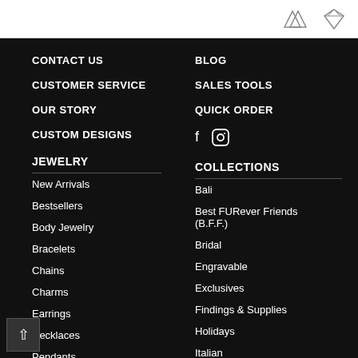Header bar with gem icons
CONTACT US
CUSTOMER SERVICE
OUR STORY
CUSTOM DESIGNS
BLOG
SALES TOOLS
QUICK ORDER
JEWELRY
New Arrivals
Bestsellers
Body Jewelry
Bracelets
Chains
Charms
Earrings
Necklaces
Pendants
Pins
COLLECTIONS
Bali
Best FURever Friends (B.F.F.)
Bridal
Engravable
Exclusives
Findings & Supplies
Holidays
Italian
Mens
Pearls (partial)